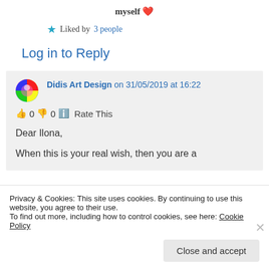myself ❤
★ Liked by 3 people
Log in to Reply
Didis Art Design on 31/05/2019 at 16:22
👍 0 👎 0 ℹ Rate This
Dear Ilona,
When this is your real wish, then you are a
Privacy & Cookies: This site uses cookies. By continuing to use this website, you agree to their use.
To find out more, including how to control cookies, see here: Cookie Policy
Close and accept